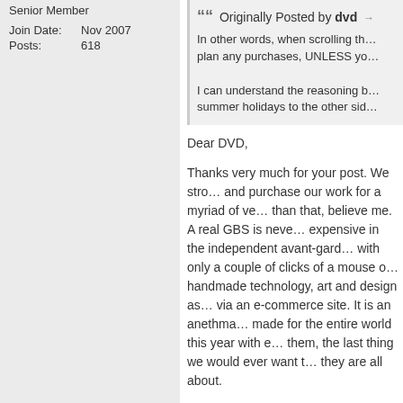Senior Member
| Join Date: | Nov 2007 |
| Posts: | 618 |
Originally Posted by dvd
In other words, when scrolling through the plan any purchases, UNLESS yo

I can understand the reasoning b summer holidays to the other sid
Dear DVD,
Thanks very much for your post. We stro and purchase our work for a myriad of ve than that, believe me. A real GBS is neve expensive in the independent avant-gard with only a couple of clicks of a mouse o handmade technology, art and design as via an e-commerce site. It is an anethma made for the entire world this year with e them, the last thing we would ever want t they are all about.
There is also the image and pricing issue being portrayed in the ugly, vapid and sh offerings today. How anyone could imagi making a few more empty sales baffles...